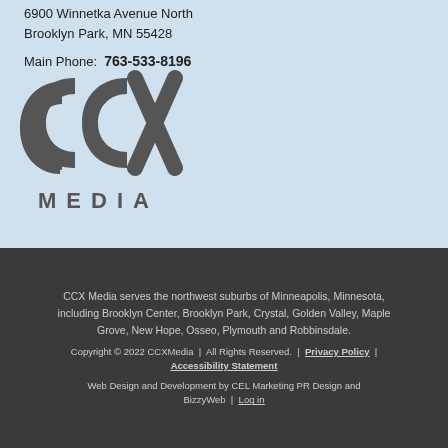6900 Winnetka Avenue North
Brooklyn Park, MN 55428
Main Phone: 763-533-8196
[Figure (logo): CCX Media logo in dark gray with large stylized 'CCX' letters and 'MEDIA' text below]
CCX Media serves the northwest suburbs of Minneapolis, Minnesota, including Brooklyn Center, Brooklyn Park, Crystal, Golden Valley, Maple Grove, New Hope, Osseo, Plymouth and Robbinsdale.
Copyright © 2022 CCXMedia | All Rights Reserved. | Privacy Policy | Accessibility Statement
Web Design and Development by CEL Marketing PR Design and BizzyWeb | Log in